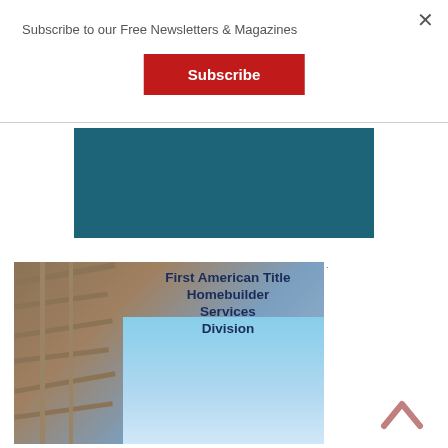Subscribe to our Free Newsletters & Magazines
Subscribe
[Figure (illustration): Teal/dark blue rectangle banner area]
[Figure (photo): First American Title Homebuilder Services Division advertisement showing construction building structure against blue sky with bold dark blue text overlay]